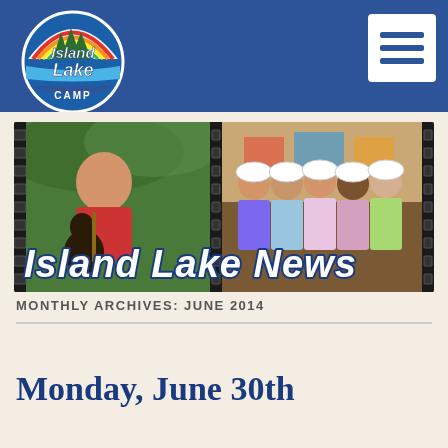Island Lake Camp
[Figure (screenshot): Island Lake Camp logo - circular badge with pine trees and rainbow, stylized text reading Island Lake Camp]
[Figure (screenshot): Hamburger menu icon button (three horizontal lines) on white square background]
[Figure (photo): Island Lake News banner showing a boy playing guitar on the left and five girls wearing bike helmets on the right, with 'Island Lake News' text overlay in white italic bold font]
MONTHLY ARCHIVES: JUNE 2014
Monday, June 30th